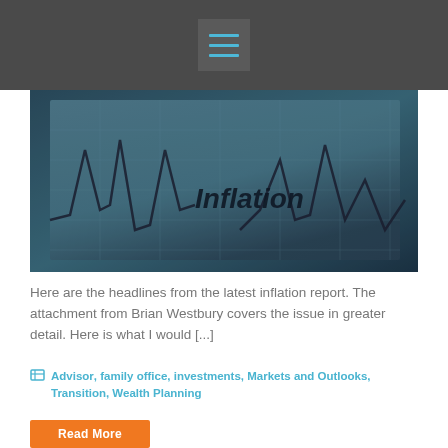[Figure (photo): Close-up photo of a financial chart/graph with the word 'Inflation' printed on paper, blue toned image showing line graph spikes]
Here are the headlines from the latest inflation report. The attachment from Brian Westbury covers the issue in greater detail. Here is what I would [...]
Advisor, family office, investments, Markets and Outlooks, Transition, Wealth Planning
Read More